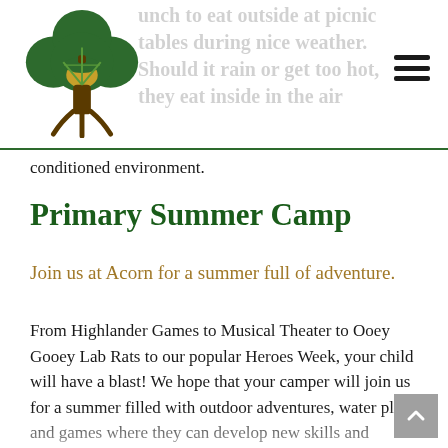Acorn logo and navigation header
...unch to eat outside at picnic tables during nice weather. Should it rain or get too hot, they eat inside in the air conditioned environment.
Primary Summer Camp
Join us at Acorn for a summer full of adventure.
From Highlander Games to Musical Theater to Ooey Gooey Lab Rats to our popular Heroes Week, your child will have a blast! We hope that your camper will join us for a summer filled with outdoor adventures, water play and games where they can develop new skills and interests, make new friends and continue to become more